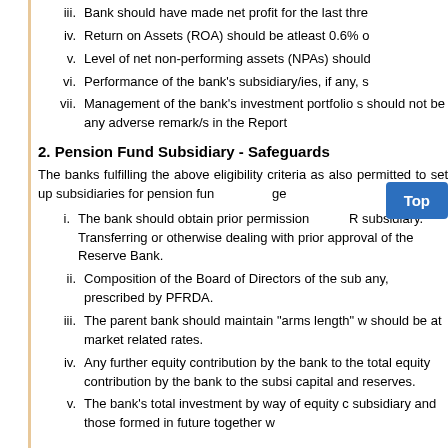iii. Bank should have made net profit for the last three
iv. Return on Assets (ROA) should be atleast 0.6% o
v. Level of net non-performing assets (NPAs) should
vi. Performance of the bank's subsidiary/ies, if any, s
vii. Management of the bank's investment portfolio s should not be any adverse remark/s in the Report
2. Pension Fund Subsidiary - Safeguards
The banks fulfilling the above eligibility criteria as also permitted to set up subsidiaries for pension fun ge
i. The bank should obtain prior permission R subsidiary. Transferring or otherwise dealing with prior approval of the Reserve Bank.
ii. Composition of the Board of Directors of the sub any, prescribed by PFRDA.
iii. The parent bank should maintain "arms length" w should be at market related rates.
iv. Any further equity contribution by the bank to the total equity contribution by the bank to the subsi capital and reserves.
v. The bank's total investment by way of equity c subsidiary and those formed in future together w